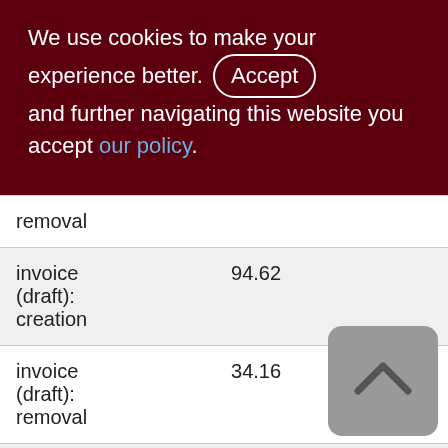We use cookies to make your experience better. By accepting and further navigating this website you accept our policy.
|  |  |  |
| --- | --- | --- |
| removal |  |  |
| invoice (draft): creation | 94.62 |  |
| invoice (draft): removal | 34.16 |  |
| invoice accept: apply | 58.54 | 1 |
| invoice accept: | 15.60 |  |